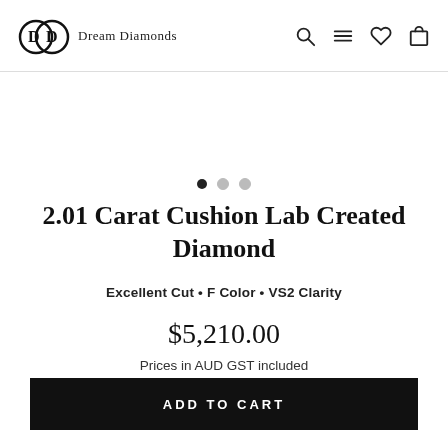Dream Diamonds
[Figure (other): Carousel image placeholder area with three navigation dots (one filled, two grey)]
2.01 Carat Cushion Lab Created Diamond
Excellent Cut • F Color • VS2 Clarity
$5,210.00
Prices in AUD GST included
ADD TO CART